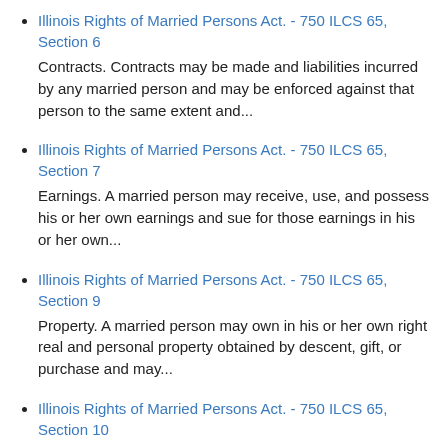Illinois Rights of Married Persons Act. - 750 ILCS 65, Section 6
Contracts. Contracts may be made and liabilities incurred by any married person and may be enforced against that person to the same extent and...
Illinois Rights of Married Persons Act. - 750 ILCS 65, Section 7
Earnings. A married person may receive, use, and possess his or her own earnings and sue for those earnings in his or her own...
Illinois Rights of Married Persons Act. - 750 ILCS 65, Section 9
Property. A married person may own in his or her own right real and personal property obtained by descent, gift, or purchase and may...
Illinois Rights of Married Persons Act. - 750 ILCS 65, Section 10
Should either the husband or wife unlawfully obtain or retain possession or control of property belonging to the other, either before or after marriage....